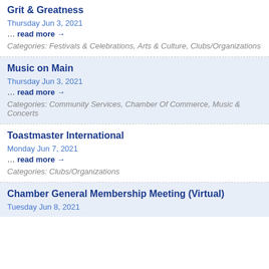Grit & Greatness
Thursday Jun 3, 2021
… read more →
Categories: Festivals & Celebrations, Arts & Culture, Clubs/Organizations
Music on Main
Thursday Jun 3, 2021
… read more →
Categories: Community Services, Chamber Of Commerce, Music & Concerts
Toastmaster International
Monday Jun 7, 2021
… read more →
Categories: Clubs/Organizations
Chamber General Membership Meeting (Virtual)
Tuesday Jun 8, 2021